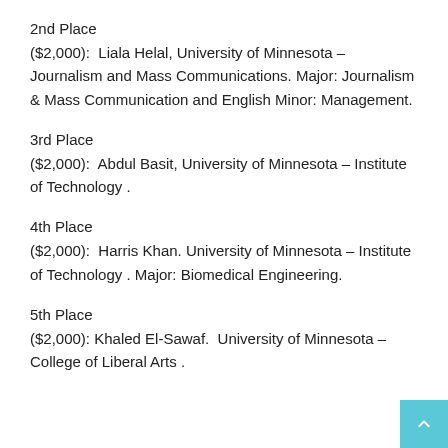2nd Place
($2,000):  Liala Helal, University of Minnesota – Journalism and Mass Communications. Major: Journalism & Mass Communication and English Minor: Management.
3rd Place
($2,000):  Abdul Basit, University of Minnesota – Institute of Technology .
4th Place
($2,000):  Harris Khan. University of Minnesota – Institute of Technology . Major: Biomedical Engineering.
5th Place
($2,000): Khaled El-Sawaf.  University of Minnesota – College of Liberal Arts .